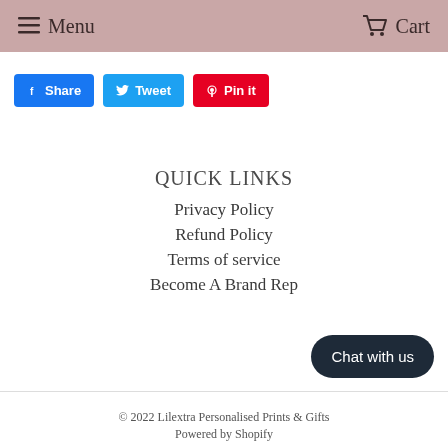Menu   Cart
Share  Tweet  Pin it
QUICK LINKS
Privacy Policy
Refund Policy
Terms of service
Become A Brand Rep
Chat with us
© 2022 Lilextra Personalised Prints & Gifts
Powered by Shopify